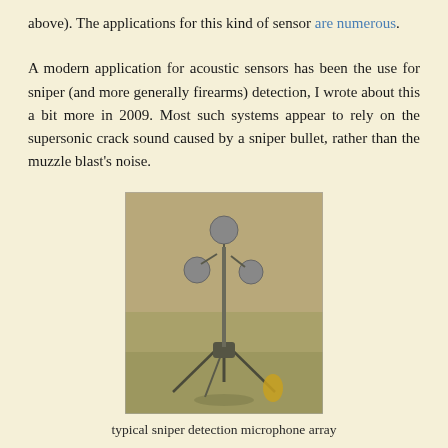above). The applications for this kind of sensor are numerous.
A modern application for acoustic sensors has been the use for sniper (and more generally firearms) detection, I wrote about this a bit more in 2009. Most such systems appear to rely on the supersonic crack sound caused by a sniper bullet, rather than the muzzle blast's noise.
[Figure (photo): A photograph of a typical sniper detection microphone array — a tripod-mounted instrument with multiple spherical microphone capsules arranged on a vertical pole outdoors on a grass field.]
typical sniper detection microphone array
A third - once quite important - use of acoustic sensing was the